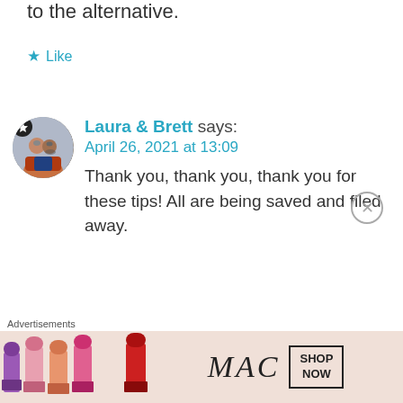to the alternative.
★ Like
[Figure (photo): Profile photo of Laura & Brett — a couple in front of Tower Bridge, London. A small star badge is in the top left of the circular avatar.]
Laura & Brett says: April 26, 2021 at 13:09 Thank you, thank you, thank you for these tips! All are being saved and filed away.
[Figure (advertisement): MAC Cosmetics advertisement showing colorful lipsticks (purple, pink, orange, red) with MAC logo and SHOP NOW button.]